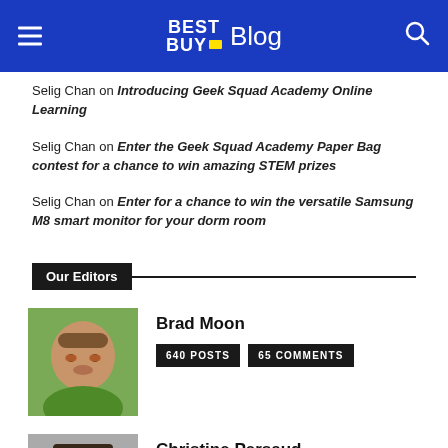BEST BUY Blog
Selig Chan on Introducing Geek Squad Academy Online Learning
Selig Chan on Enter the Geek Squad Academy Paper Bag contest for a chance to win amazing STEM prizes
Selig Chan on Enter for a chance to win the versatile Samsung M8 smart monitor for your dorm room
Our Editors
Brad Moon
640 POSTS  65 COMMENTS
Christine Persaud
285 POSTS  24 COMMENTS